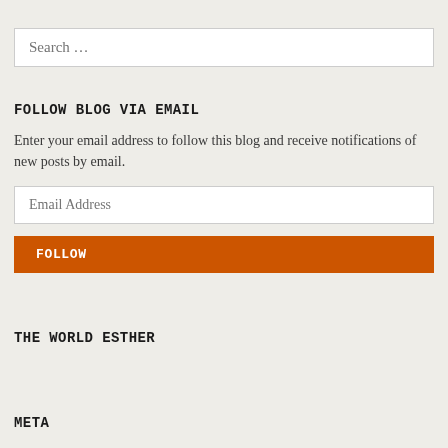Search …
FOLLOW BLOG VIA EMAIL
Enter your email address to follow this blog and receive notifications of new posts by email.
Email Address
FOLLOW
THE WORLD ESTHER
META